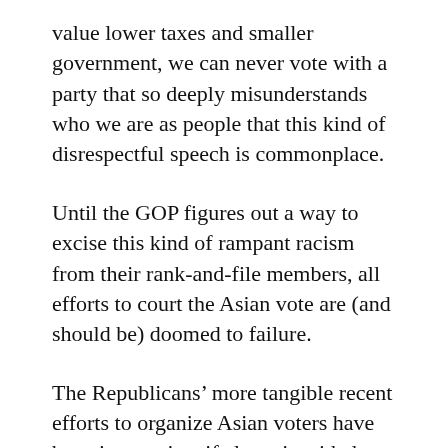value lower taxes and smaller government, we can never vote with a party that so deeply misunderstands who we are as people that this kind of disrespectful speech is commonplace.
Until the GOP figures out a way to excise this kind of rampant racism from their rank-and-file members, all efforts to court the Asian vote are (and should be) doomed to failure.
The Republicans' more tangible recent efforts to organize Asian voters have been impressive, if also misguided. The Republican anti-affirmative action lobby has done an impressive job whipping up hysterical fear in California and empowering new efforts out of